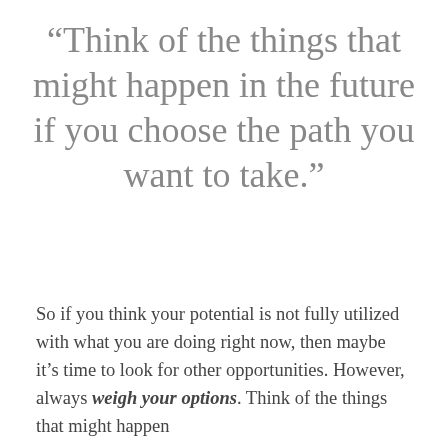“Think of the things that might happen in the future if you choose the path you want to take.”
So if you think your potential is not fully utilized with what you are doing right now, then maybe it’s time to look for other opportunities. However, always weigh your options. Think of the things that might happen